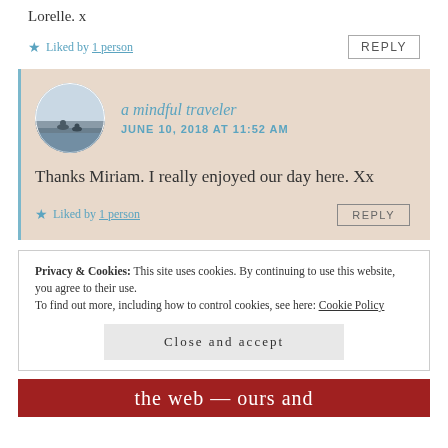Lorelle. x
★ Liked by 1 person
REPLY
a mindful traveler
JUNE 10, 2018 AT 11:52 AM
Thanks Miriam. I really enjoyed our day here. Xx
★ Liked by 1 person
REPLY
Privacy & Cookies: This site uses cookies. By continuing to use this website, you agree to their use.
To find out more, including how to control cookies, see here: Cookie Policy
Close and accept
the web — ours and